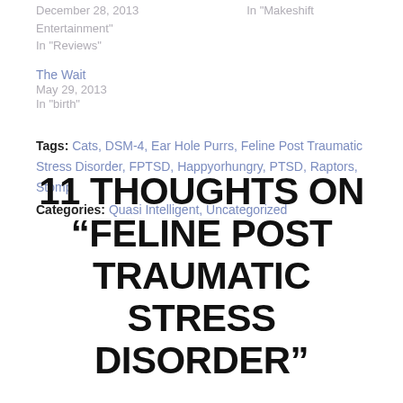December 28, 2013
In "Makeshift Entertainment"
In "Reviews"
The Wait
May 29, 2013
In "birth"
Tags: Cats, DSM-4, Ear Hole Purrs, Feline Post Traumatic Stress Disorder, FPTSD, Happyorhungry, PTSD, Raptors, Stomp
Categories: Quasi Intelligent, Uncategorized
11 THOUGHTS ON “FELINE POST TRAUMATIC STRESS DISORDER”